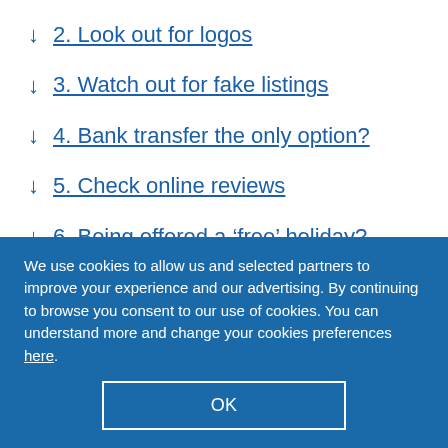2. Look out for logos
3. Watch out for fake listings
4. Bank transfer the only option?
5. Check online reviews
6. Being offered a ‘free’ holiday?
7. Buy official
We use cookies to allow us and selected partners to improve your experience and our advertising. By continuing to browse you consent to our use of cookies. You can understand more and change your cookies preferences here.
OK